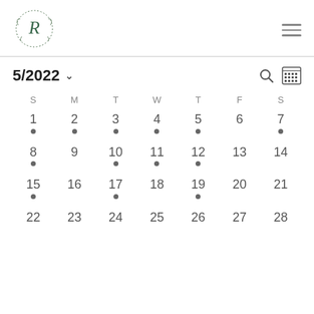R logo and hamburger menu
5/2022
| S | M | T | W | T | F | S |
| --- | --- | --- | --- | --- | --- | --- |
| 1● | 2● | 3● | 4● | 5● | 6 | 7● |
| 8● | 9 | 10● | 11● | 12● | 13 | 14 |
| 15● | 16 | 17● | 18 | 19● | 20 | 21 |
| 22 | 23 | 24 | 25 | 26 | 27 | 28 |